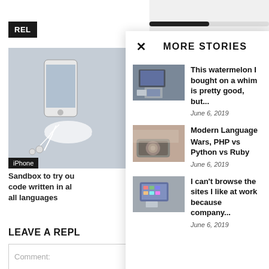REL...
[Figure (photo): Photo of iPhone with earbuds]
iPhone
Sandbox to try out code written in all languages
LEAVE A REPLY
Comment:
MORE STORIES
[Figure (photo): Photo of laptop, keyboard and tablet on desk]
This watermelon I bought on a whim is pretty good, but...
June 6, 2019
[Figure (photo): Photo of headphones on keyboard]
Modern Language Wars, PHP vs Python vs Ruby
June 6, 2019
[Figure (photo): Photo of tablet showing app icons on desk with keyboard]
I can't browse the sites I like at work because company...
June 6, 2019